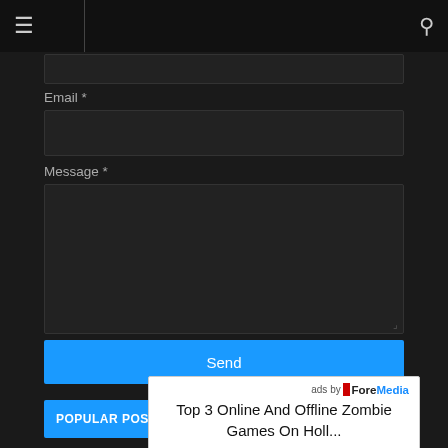≡  🔍
Email *
Message *
Send
POPULAR POSTS
[Figure (screenshot): Ad overlay from ForeMedia showing 'Top 3 Online And Offline Zombie Games On Holl...']